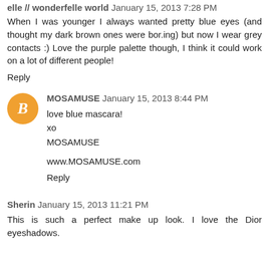elle // wonderfelle world January 15, 2013 7:28 PM
When I was younger I always wanted pretty blue eyes (and thought my dark brown ones were bor.ing) but now I wear grey contacts :) Love the purple palette though, I think it could work on a lot of different people!
Reply
MOSAMUSE January 15, 2013 8:44 PM
love blue mascara!
xo
MOSAMUSE

www.MOSAMUSE.com
Reply
Sherin January 15, 2013 11:21 PM
This is such a perfect make up look. I love the Dior eyeshadows.